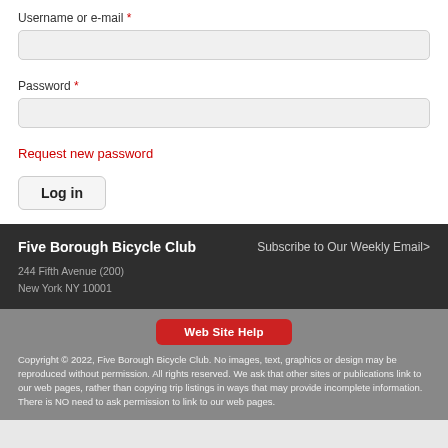Username or e-mail *
Password *
Request new password
Log in
Five Borough Bicycle Club
Subscribe to Our Weekly Email>
244 Fifth Avenue (200)
New York NY 10001
Web Site Help
Copyright © 2022, Five Borough Bicycle Club. No images, text, graphics or design may be reproduced without permission. All rights reserved. We ask that other sites or publications link to our web pages, rather than copying trip listings in ways that may provide incomplete information. There is NO need to ask permission to link to our web pages.